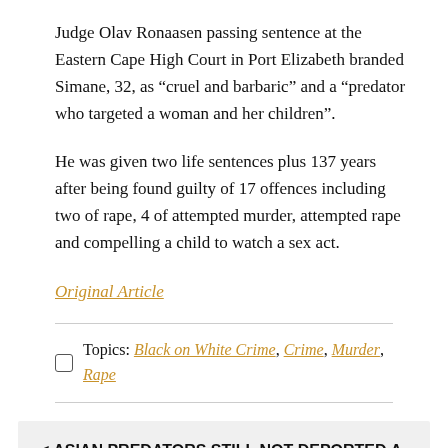Judge Olav Ronaasen passing sentence at the Eastern Cape High Court in Port Elizabeth branded Simane, 32, as “cruel and barbaric” and a “predator who targeted a woman and her children”.
He was given two life sentences plus 137 years after being found guilty of 17 offences including two of rape, 4 of attempted murder, attempted rape and compelling a child to watch a sex act.
Original Article
Topics: Black on White Crime, Crime, Murder, Rape
< ASIAN PREDATORS STILL NOT DEPORTED A DECADE AFTER PREYING ON GIRLS AS YOUNG AS 12